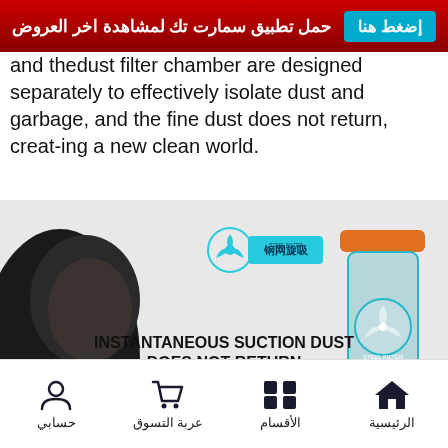إضغط هنا  حمل تطبيق سمارت تك لمشاهدة اخر العروض
and thedust filter chamber are designed separately to effectively isolate dust and garbage, and the fine dust does not return, creat-ing a new clean world.
[Figure (photo): Product advertisement image showing a vacuum cleaner with steel filter. Features a man's face on the left, a handheld vacuum cleaner in teal/blue color in the center-bottom, and a transparent cylindrical dust container on the right. Text overlay reads: INSTANTANEOUS SUCTION DUST DOES NOT RETURN. Removing litter gauges such as home period, song, Qing Jing etc. Effective Yang Gao. Logo shows 钢网旋吸 STEEL FILTER with a fan/turbine icon.]
الرئيسية  الأقسام  عربة التسوق  حسابي